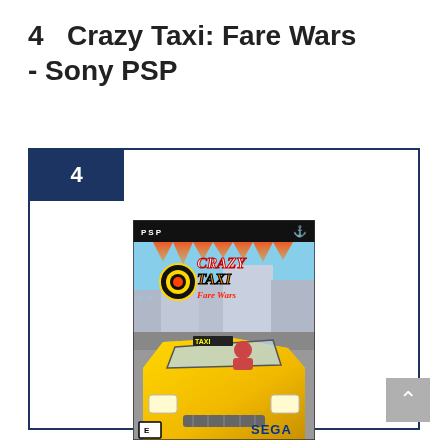4   Crazy Taxi: Fare Wars - Sony PSP
[Figure (photo): Crazy Taxi: Fare Wars PSP game box cover art showing a yellow taxi cab with the Crazy Taxi logo, published by SEGA]